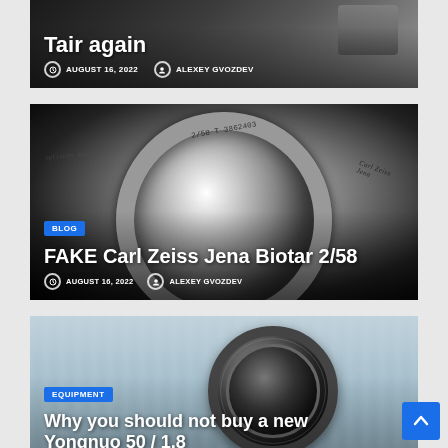[Figure (photo): Top portion of a blog post card showing dark background with camera equipment, title 'Tair again', date August 16 2022, author Alexey Gvozdev]
Tair again
AUGUST 16, 2022   ALEXEY GVOZDEV
[Figure (photo): Close-up photo of a Carl Zeiss Jena Biotar 2/58 lens showing serial number T 3862403 on metallic ring]
BLOG
FAKE Carl Zeiss Jena Biotar 2/58
AUGUST 16, 2022   ALEXEY GVOZDEV
[Figure (photo): Photo of a Yongnuo 50/1.8 lens on a blue wooden surface]
EQUIPMENT
Why you should not buy a new Yongnuo 50 / 1.8